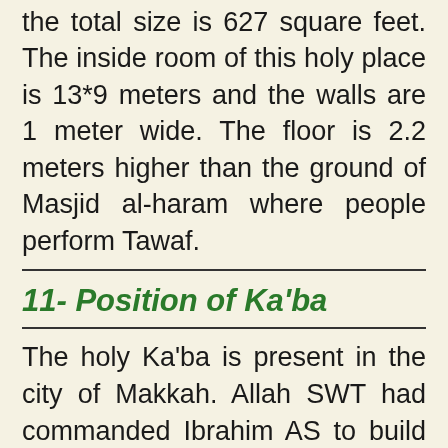the total size is 627 square feet. The inside room of this holy place is 13*9 meters and the walls are 1 meter wide. The floor is 2.2 meters higher than the ground of Masjid al-haram where people perform Tawaf.
11- Position of Ka’ba
The holy Ka’ba is present in the city of Makkah. Allah SWT had commanded Ibrahim AS to build a House of worship, Ka’ba, at a place directly under Baitul Mamoor, which is present on the seventh heaven, where every day 70,000